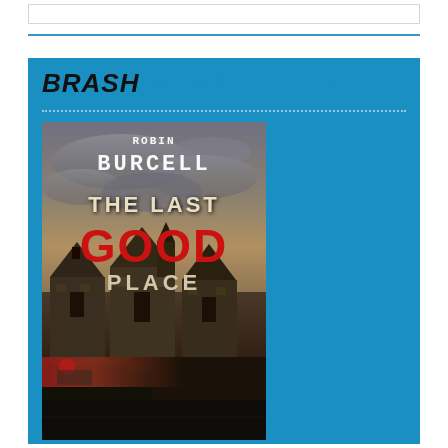BRASH NEWSLETTER
[Figure (illustration): Book cover for 'The Last Good Place' by Robin Burcell. Dark moody cover showing Victorian houses (Painted Ladies of San Francisco) in background, police car with red flashing light in foreground, dramatic stormy sky. Author name 'ROBIN BURCELL' at top, title 'THE LAST GOOD PLACE' in large text with GOOD in red.]